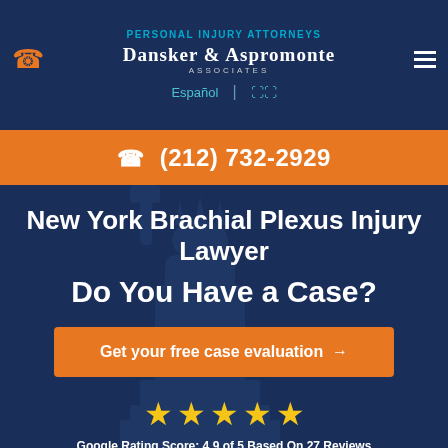PERSONAL INJURY ATTORNEYS
DANSKER & ASPROMONTE ASSOCIATES
Español | 🏛
(212) 732-2929
New York Brachial Plexus Injury Lawyer Do You Have a Case?
Get your free case evaluation →
[Figure (other): Five gold stars rating display]
Google Rating Score: 4.9 of 5 Based On 27 Reviews